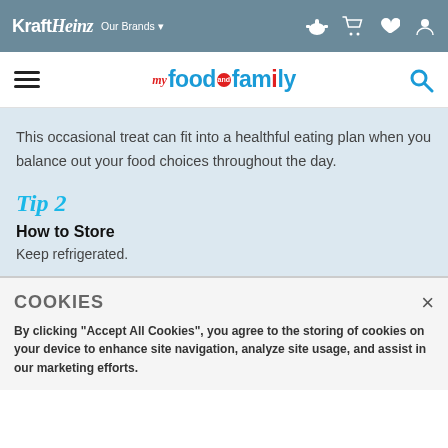KraftHeinz Our Brands
my food and family
This occasional treat can fit into a healthful eating plan when you balance out your food choices throughout the day.
Tip 2
How to Store
Keep refrigerated.
COOKIES
By clicking "Accept All Cookies", you agree to the storing of cookies on your device to enhance site navigation, analyze site usage, and assist in our marketing efforts.